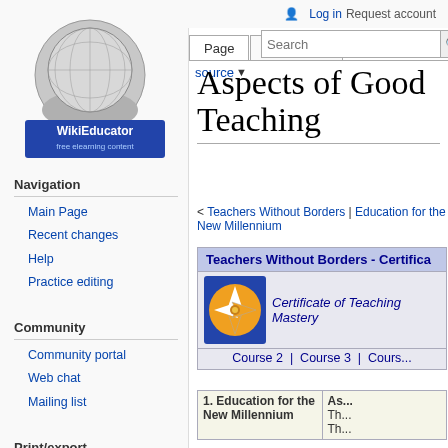[Figure (logo): WikiEducator globe logo with 'WikiEducator free elearning content' text]
Log in | Request account
Navigation
Main Page
Recent changes
Help
Practice editing
Community
Community portal
Web chat
Mailing list
Print/export
Aspects of Good Teaching
< Teachers Without Borders | Education for the New Millennium
| Teachers Without Borders - Certifica... |  |
| Certificate of Teaching Mastery |  |
| Course 2 | Course 3 | Cours... |  |
| 1. Education for the New Millennium | As...
Th...
Th... |